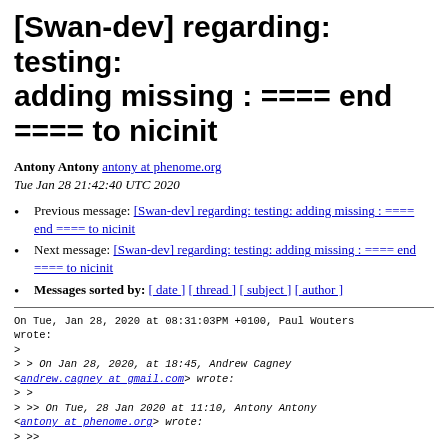[Swan-dev] regarding: testing: adding missing : ==== end ==== to nicinit
Antony Antony antony at phenome.org
Tue Jan 28 21:42:40 UTC 2020
Previous message: [Swan-dev] regarding: testing: adding missing : ==== end ==== to nicinit
Next message: [Swan-dev] regarding: testing: adding missing : ==== end ==== to nicinit
Messages sorted by: [ date ] [ thread ] [ subject ] [ author ]
On Tue, Jan 28, 2020 at 08:31:03PM +0100, Paul Wouters wrote:
>
> > On Jan 28, 2020, at 18:45, Andrew Cagney <andrew.cagney at gmail.com> wrote:
> >
> >> On Tue, 28 Jan 2020 at 11:10, Antony Antony <antony at phenome.org> wrote:
> >>